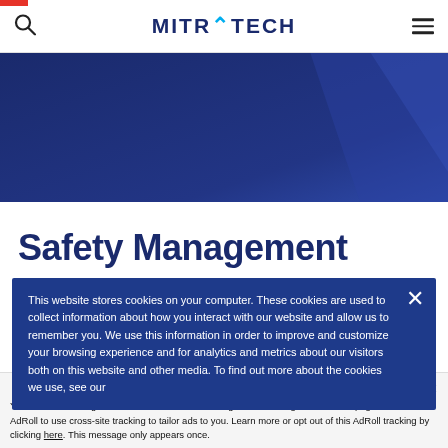MITRATECH
[Figure (illustration): Dark blue hero banner with diagonal geometric highlight shapes on the right side]
Safety Management
This website stores cookies on your computer. These cookies are used to collect information about how you interact with our website and allow us to remember you. We use this information in order to improve and customize your browsing experience and for analytics and metrics about our visitors both on this website and other media. To find out more about the cookies we use, see our
Accept and Close ×
Your browser settings do not allow cross-site tracking for advertising. Click on this page to allow AdRoll to use cross-site tracking to tailor ads to you. Learn more or opt out of this AdRoll tracking by clicking here. This message only appears once.